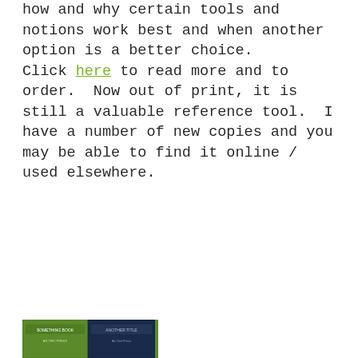how and why certain tools and notions work best and when another option is a better choice. Click here to read more and to order.  Now out of print, it is still a valuable reference tool.  I have a number of new copies and you may be able to find it online / used elsewhere.
[Figure (photo): Book cover image at bottom left of page]